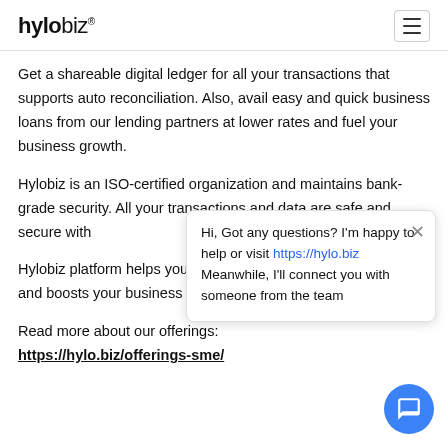hylobiz®
Get a shareable digital ledger for all your transactions that supports auto reconciliation. Also, avail easy and quick business loans from our lending partners at lower rates and fuel your business growth.
Hylobiz is an ISO-certified organization and maintains bank-grade security. All your transactions and data are safe and secure with
Hi, Got any questions? I'm happy to help or visit https://hylo.biz Meanwhile, I'll connect you with someone from the team
Hylobiz platform helps you stay GST compliant, helps improve and boosts your business cashflows.
Read more about our offerings:
https://hylo.biz/offerings-sme/